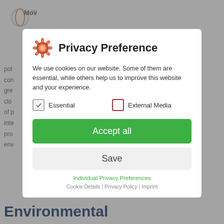[Figure (screenshot): Background webpage with Move 360 logo, partial article text, and 'Environmental' heading visible behind modal overlay]
Privacy Preference
We use cookies on our website. Some of them are essential, while others help us to improve this website and your experience.
Essential
External Media
Accept all
Save
Individual Privacy Preferences
Cookie Details | Privacy Policy | Imprint